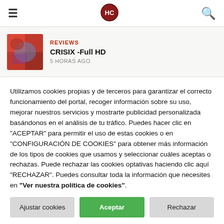Navigation bar with hamburger menu, logo, and search icon
[Figure (screenshot): Review card showing a blurred album art thumbnail, 'REVIEWS' label in red, title 'CRISIX -Full HD', and '5 HORAS AGO']
Utilizamos cookies propias y de terceros para garantizar el correcto funcionamiento del portal, recoger información sobre su uso, mejorar nuestros servicios y mostrarte publicidad personalizada basándonos en el análisis de tu tráfico. Puedes hacer clic en "ACEPTAR" para permitir el uso de estas cookies o en "CONFIGURACIÓN DE COOKIES" para obtener más información de los tipos de cookies que usamos y seleccionar cuáles aceptas o rechazas. Puede rechazar las cookies optativas haciendo clic aquí "RECHAZAR". Puedes consultar toda la información que necesites en "Ver nuestra política de cookies".
Ajustar cookies
Aceptar
Rechazar